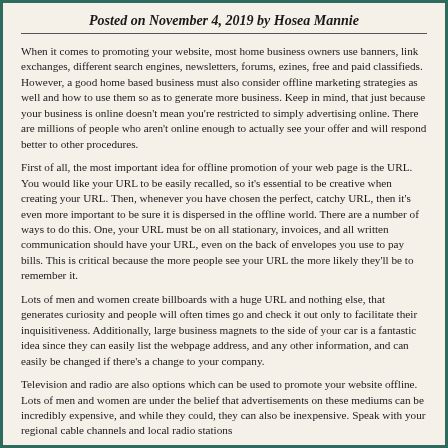Posted on November 4, 2019 by Hosea Mannie
When it comes to promoting your website, most home business owners use banners, link exchanges, different search engines, newsletters, forums, ezines, free and paid classifieds. However, a good home based business must also consider offline marketing strategies as well and how to use them so as to generate more business. Keep in mind, that just because your business is online doesn't mean you're restricted to simply advertising online. There are millions of people who aren't online enough to actually see your offer and will respond better to other procedures.
First of all, the most important idea for offline promotion of your web page is the URL. You would like your URL to be easily recalled, so it's essential to be creative when creating your URL. Then, whenever you have chosen the perfect, catchy URL, then it's even more important to be sure it is dispersed in the offline world. There are a number of ways to do this. One, your URL must be on all stationary, invoices, and all written communication should have your URL, even on the back of envelopes you use to pay bills. This is critical because the more people see your URL the more likely they'll be to remember it.
Lots of men and women create billboards with a huge URL and nothing else, that generates curiosity and people will often times go and check it out only to facilitate their inquisitiveness. Additionally, large business magnets to the side of your car is a fantastic idea since they can easily list the webpage address, and any other information, and can easily be changed if there's a change to your company.
Television and radio are also options which can be used to promote your website offline. Lots of men and women are under the belief that advertisements on these mediums can be incredibly expensive, and while they could, they can also be inexpensive. Speak with your regional cable channels and local radio stations